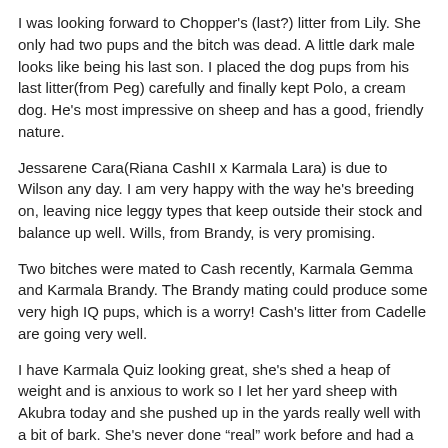I was looking forward to Chopper's (last?) litter from Lily. She only had two pups and the bitch was dead. A little dark male looks like being his last son. I placed the dog pups from his last litter(from Peg) carefully and finally kept Polo, a cream dog. He's most impressive on sheep and has a good, friendly nature.
Jessarene Cara(Riana CashII x Karmala Lara) is due to Wilson any day. I am very happy with the way he's breeding on, leaving nice leggy types that keep outside their stock and balance up well. Wills, from Brandy, is very promising.
Two bitches were mated to Cash recently, Karmala Gemma and Karmala Brandy. The Brandy mating could produce some very high IQ pups, which is a worry! Cash's litter from Cadelle are going very well.
I have Karmala Quiz looking great, she's shed a heap of weight and is anxious to work so I let her yard sheep with Akubra today and she pushed up in the yards really well with a bit of bark. She's never done “real” work before and had a ball, she's a very stylish bitch but quite strong. It would be nice to get a bitch pup from her as the last two C/S ones died. Quiz is the dam of Karrawarra ShadowIII who was passed in at Casterton for $9000 and has been used widely as a sire.